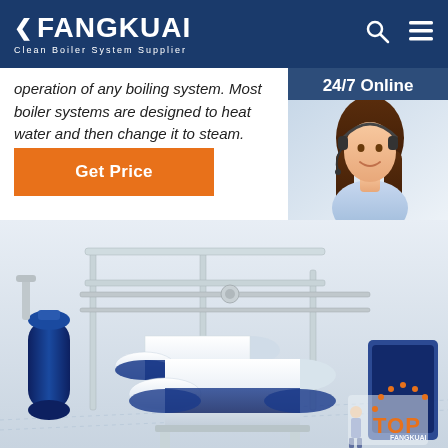FANGKUAI Clean Boiler System Supplier
operation of any boiling system. Most boiler systems are designed to heat water and then change it to steam.
[Figure (screenshot): Orange 'Get Price' button]
[Figure (photo): 24/7 Online chat widget with female customer service agent wearing headset, and 'Click here for free chat!' text with orange QUOTATION button]
[Figure (illustration): 3D rendered industrial boiler system with blue and white cylindrical boiler units, metal piping frames, and a small human figure for scale]
[Figure (other): Orange TOP scroll-to-top button with dotted arc in bottom right corner]